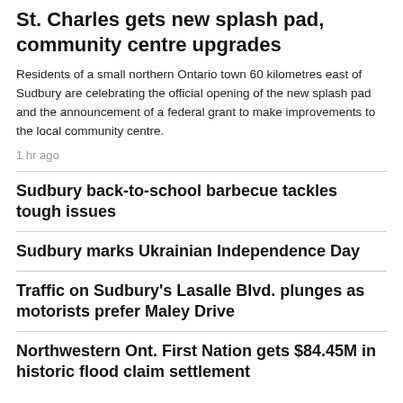St. Charles gets new splash pad, community centre upgrades
Residents of a small northern Ontario town 60 kilometres east of Sudbury are celebrating the official opening of the new splash pad and the announcement of a federal grant to make improvements to the local community centre.
1 hr ago
Sudbury back-to-school barbecue tackles tough issues
Sudbury marks Ukrainian Independence Day
Traffic on Sudbury's Lasalle Blvd. plunges as motorists prefer Maley Drive
Northwestern Ont. First Nation gets $84.45M in historic flood claim settlement